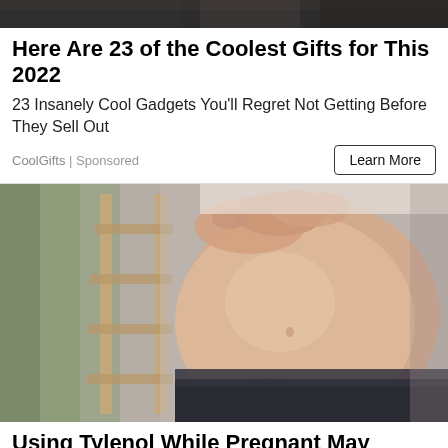[Figure (photo): Dark/shadowy image crop at top of page, appears to be a partial view of a person or object]
Here Are 23 of the Coolest Gifts for This 2022
23 Insanely Cool Gadgets You'll Regret Not Getting Before They Sell Out
CoolGifts | Sponsored
Learn More
[Figure (photo): Close-up photo of a pregnant woman's belly, hands cradling the bump from above and below, wearing dark pants, blurred background with green plant and wooden ladder-like structure]
Using Tylenol While Pregnant May Cause